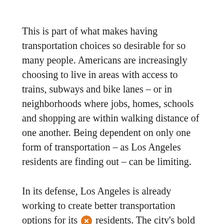This is part of what makes having transportation choices so desirable for so many people. Americans are increasingly choosing to live in areas with access to trains, subways and bike lanes – or in neighborhoods where jobs, homes, schools and shopping are within walking distance of one another. Being dependent on only one form of transportation – as Los Angeles residents are finding out – can be limiting.
In its defense, Los Angeles is already working to create better transportation options for its residents. The city's bold 30/10 Initiative aims to build 30 years' worth of mass transit in just 10. The